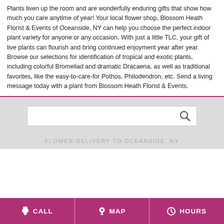Plants liven up the room and are wonderfully enduring gifts that show how much you care anytime of year! Your local flower shop, Blossom Heath Florist & Events of Oceanside, NY can help you choose the perfect indoor plant variety for anyone or any occasion. With just a little TLC, your gift of live plants can flourish and bring continued enjoyment year after year. Browse our selections for identification of tropical and exotic plants, including colorful Bromeliad and dramatic Dracaena, as well as traditional favorites, like the easy-to-care-for Pothos, Philodendron, etc. Send a living message today with a plant from Blossom Heath Florist & Events.
[Figure (other): Search bar with magnifying glass icon on a light gray background]
FLOWER DELIVERY TO OCEANSIDE, NY
CALL   MAP   HOURS